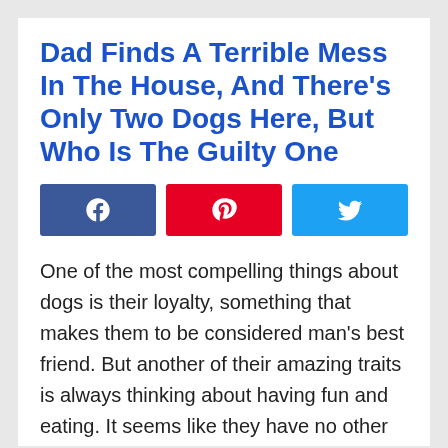Dad Finds A Terrible Mess In The House, And There's Only Two Dogs Here, But Who Is The Guilty One
[Figure (infographic): Three social share buttons: Facebook (blue), Pinterest (red), Twitter (light blue)]
One of the most compelling things about dogs is their loyalty, something that makes them to be considered man's best friend. But another of their amazing traits is always thinking about having fun and eating. It seems like they have no other worry in the world, and as long as they are by their human's side, they have nothing to worry about.